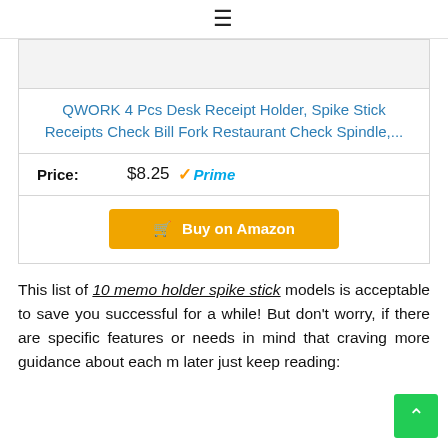≡
QWORK 4 Pcs Desk Receipt Holder, Spike Stick Receipts Check Bill Fork Restaurant Check Spindle,...
Price: $8.25 ✓Prime
[Figure (other): Buy on Amazon button with shopping cart icon]
This list of 10 memo holder spike stick models is acceptable to save you successful for a while! But don't worry, if there are specific features or needs in mind that craving more guidance about each m... later just keep reading: